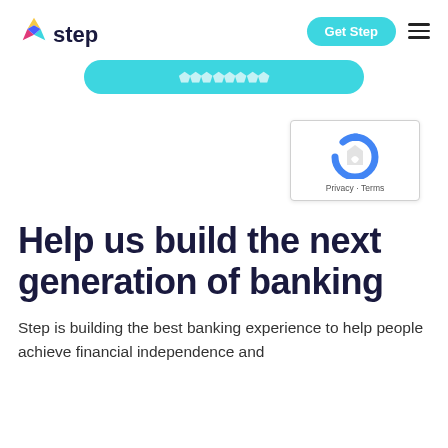step — Get Step [hamburger menu]
[Figure (other): Teal/cyan pill-shaped CTA button partially visible at top]
[Figure (other): Google reCAPTCHA widget box with recycling arrow logo and Privacy · Terms text]
Help us build the next generation of banking
Step is building the best banking experience to help people achieve financial independence and